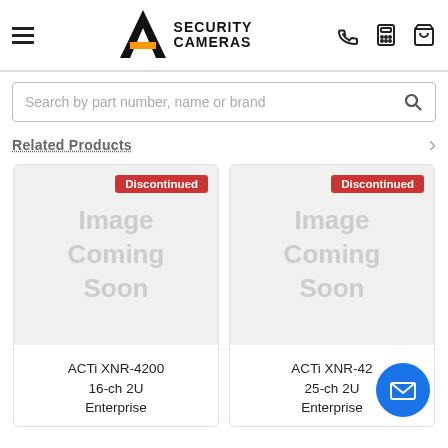[Figure (logo): A1 Security Cameras logo with hamburger menu and icons for phone, calculator, and cart]
[Figure (screenshot): Search bar with placeholder text: Search by part number, name or brand]
Related Products
[Figure (photo): Product card: Discontinued badge, Image Coming Soon placeholder, ACTi XNR-4200 16-ch 2U Enterprise]
ACTi XNR-4200 16-ch 2U Enterprise
[Figure (photo): Product card: Discontinued badge, Image Coming Soon placeholder, ACTi XNR-42xx 25-ch 2U Enterprise]
ACTi XNR-42xx 25-ch 2U Enterprise